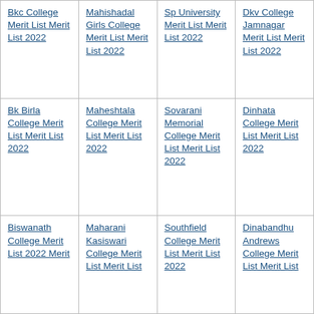| Bkc College Merit List Merit List 2022 | Mahishadal Girls College Merit List Merit List 2022 | Sp University Merit List Merit List 2022 | Dkv College Jamnagar Merit List Merit List 2022 |
| Bk Birla College Merit List Merit List 2022 | Maheshtala College Merit List Merit List 2022 | Sovarani Memorial College Merit List Merit List 2022 | Dinhata College Merit List Merit List 2022 |
| Biswanath College Merit List 2022 Merit... | Maharani Kasiswari College Merit List Merit List... | Southfield College Merit List Merit List 2022... | Dinabandhu Andrews College Merit List Merit List... |